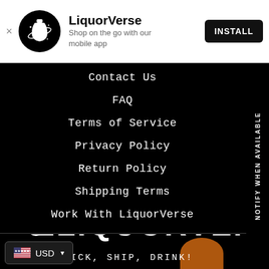[Figure (logo): LiquorVerse app install banner with logo, title, subtitle and install button]
Contact Us
FAQ
Terms of Service
Privacy Policy
Return Policy
Shipping Terms
Work With LiquorVerse
NOTIFY WHEN AVAILABLE
[Figure (logo): LiquorVerse large footer logo with bottle icon and CLICK, SHIP, DRINK tagline]
USD